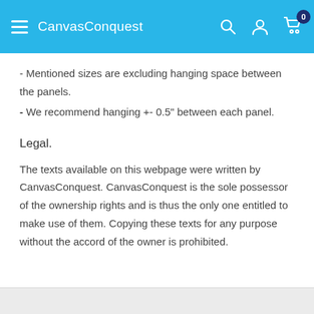CanvasConquest
- Mentioned sizes are excluding hanging space between the panels.
- We recommend hanging +- 0.5" between each panel.
Legal.
The texts available on this webpage were written by CanvasConquest. CanvasConquest is the sole possessor of the ownership rights and is thus the only one entitled to make use of them. Copying these texts for any purpose without the accord of the owner is prohibited.